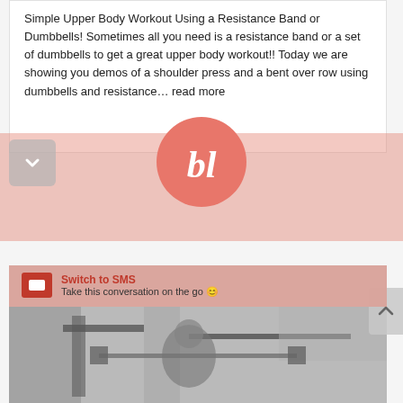Simple Upper Body Workout Using a Resistance Band or Dumbbells! Sometimes all you need is a resistance band or a set of dumbbells to get a great upper body workout!! Today we are showing you demos of a shoulder press and a bent over row using dumbbells and resistance… read more
[Figure (logo): Circular pink/salmon logo with white script letters 'bl']
Switch to SMS
Take this conversation on the go 😊
[Figure (photo): Photo of gym interior with a person performing a barbell exercise, gym equipment visible in background]